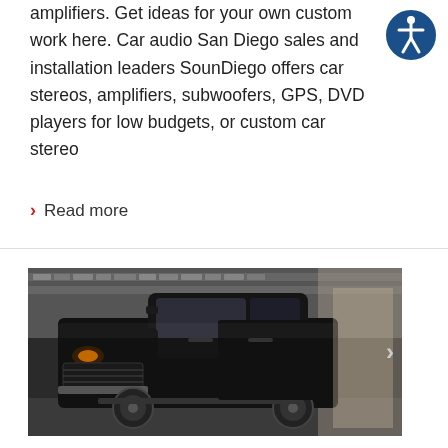amplifiers. Get ideas for your own custom work here. Car audio San Diego sales and installation leaders SounDiego offers car stereos, amplifiers, subwoofers, GPS, DVD players for low budgets, or custom car stereo
› Read more
[Figure (photo): A black pickup truck (Ford F-150) parked inside a garage or workshop, viewed from the front-left side. The truck has orange parking lights on. The background shows shelves with wrapped merchandise.]